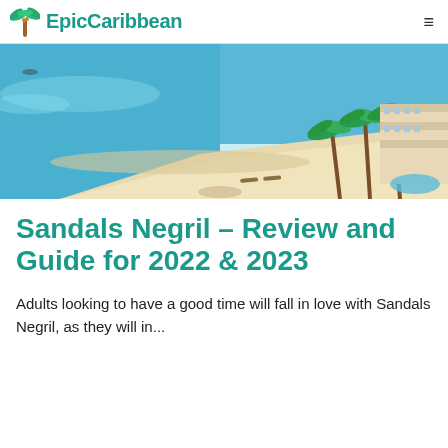EpicCaribbean
[Figure (photo): Aerial view of a tropical beach resort in Negril, Jamaica. Turquoise water on the left, wide white sandy beach in the center, palm trees, sunbeds, and a multi-story resort hotel with pool on the right.]
Sandals Negril – Review and Guide for 2022 & 2023
Adults looking to have a good time will fall in love with Sandals Negril, as they will in...